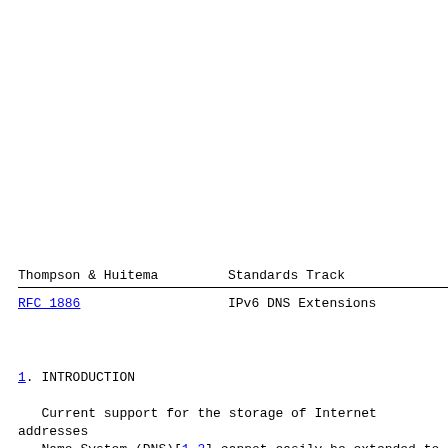Thompson & Huitema                              Standards Track
RFC 1886                        IPv6 DNS Extensions
1. INTRODUCTION
Current support for the storage of Internet addresses in the Domain Name System (DNS)[1,2] cannot easily be extended to support IPv6 addresses[3] since applications assume that address